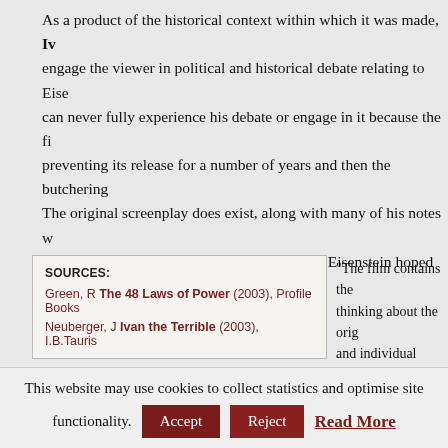As a product of the historical context within which it was made, Iv... engage the viewer in political and historical debate relating to Eise... can never fully experience his debate or engage in it because the fi... preventing its release for a number of years and then the butchering... The original screenplay does exist, along with many of his notes w... has used in her research to shed light on what Eisenstein hoped to a...
| SOURCES: |
| --- |
| Green, R The 48 Laws of Power (2003), Profile Books |
| Neuberger, J Ivan the Terrible (2003), I.B.Tauris |
“The film contains the... thinking about the orig... and individual psychol... artistic creativity and s...
the ways cinema might enable transcendence, or what he cal... (ecstasy). Dense networks of repeated and inverted images, i... animation, strange and exaggerated gestures, masks and disg... dressing and character substitutions work together (or agains... form a shifting, layered series of episodes that comment on a... as the same. Understanding this unusual structure and disting...
This website may use cookies to collect statistics and optimise site functionality.
Accept
Reject
Read More